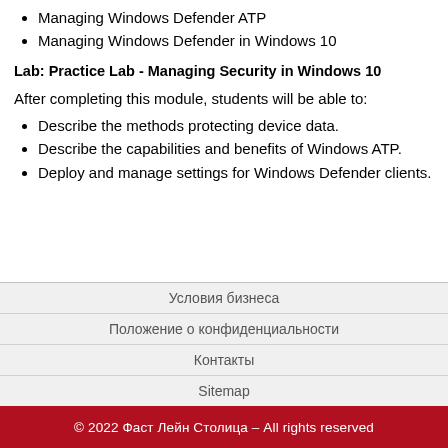Managing Windows Defender ATP
Managing Windows Defender in Windows 10
Lab: Practice Lab - Managing Security in Windows 10
After completing this module, students will be able to:
Describe the methods protecting device data.
Describe the capabilities and benefits of Windows ATP.
Deploy and manage settings for Windows Defender clients.
Условия бизнеса
Положение о конфиденциальности
Контакты
Sitemap
© 2022 Фаст Лейн Столица – All rights reserved